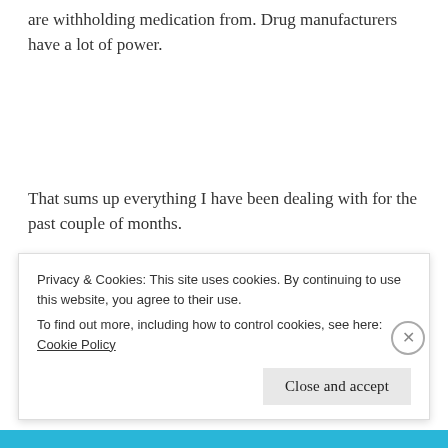are withholding medication from. Drug manufacturers have a lot of power.
That sums up everything I have been dealing with for the past couple of months.
I'm on Social Security Disability Income (SSDI), which means I worked before I became disabled. In fact, the judge that decided my case said I truly worked as
Privacy & Cookies: This site uses cookies. By continuing to use this website, you agree to their use.
To find out more, including how to control cookies, see here: Cookie Policy
Close and accept